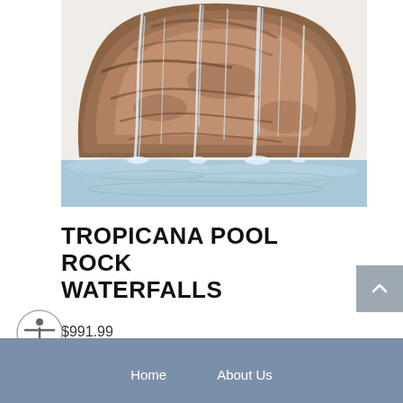[Figure (photo): A rock waterfall feature showering water into a pool below; the rock formation is brown and tan stone with cascading water streams and blue rippling water at the base.]
TROPICANA POOL ROCK WATERFALLS
$991.99
Home   About Us